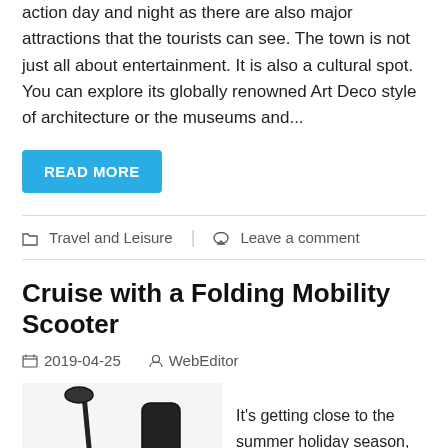action day and night as there are also major attractions that the tourists can see. The town is not just all about entertainment. It is also a cultural spot. You can explore its globally renowned Art Deco style of architecture or the museums and...
READ MORE
Travel and Leisure   |   Leave a comment
Cruise with a Folding Mobility Scooter
2019-04-25   WebEditor
[Figure (photo): A folding mobility scooter shown from the side, with a tall handlebar/cane on the left and a seat with backrest on the right, black in color.]
It’s getting close to the summer holiday season, so here we share some Cruise News & Reviews the Luggie Folding